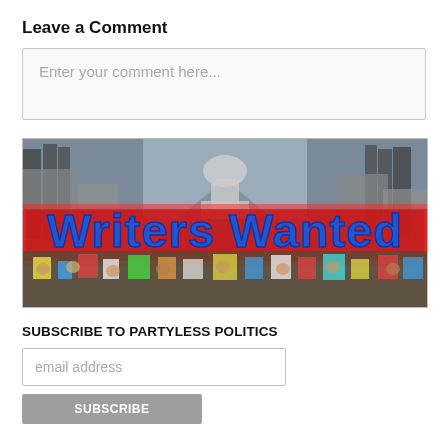Leave a Comment
Enter your comment here...
[Figure (photo): Protest crowd scene with US Capitol in background, overlaid with bold blue text 'Writers Wanted' on a red banner]
SUBSCRIBE TO PARTYLESS POLITICS
email address
SUBSCRIBE